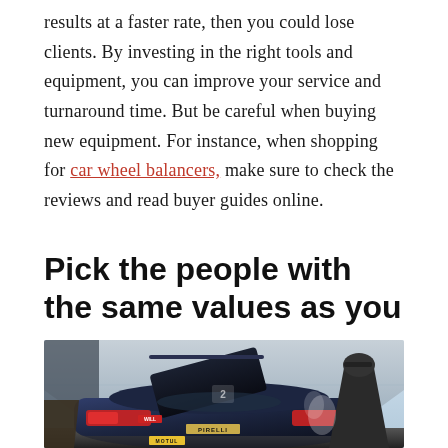results at a faster rate, then you could lose clients. By investing in the right tools and equipment, you can improve your service and turnaround time. But be careful when buying new equipment. For instance, when shopping for car wheel balancers, make sure to check the reviews and read buyer guides online.
Pick the people with the same values as you
[Figure (photo): A dark blue sports/rally car with its hood open, parked under a tent/canopy structure. A person in dark clothing and a cap is visible working on the car from the right side. The car has PIRELLI and MOTUL branding visible. Steam or smoke is visible near the rear of the car.]